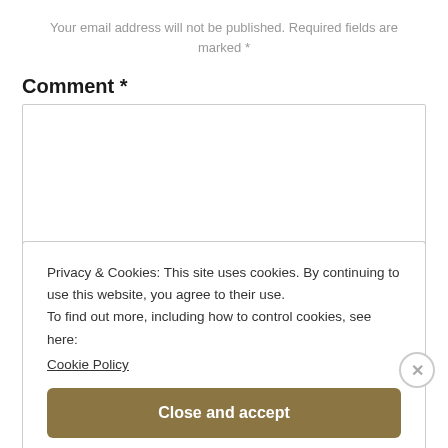Your email address will not be published. Required fields are marked *
Comment *
[Figure (screenshot): Empty textarea comment input box with resize handle]
Privacy & Cookies: This site uses cookies. By continuing to use this website, you agree to their use.
To find out more, including how to control cookies, see here:
Cookie Policy
Close and accept